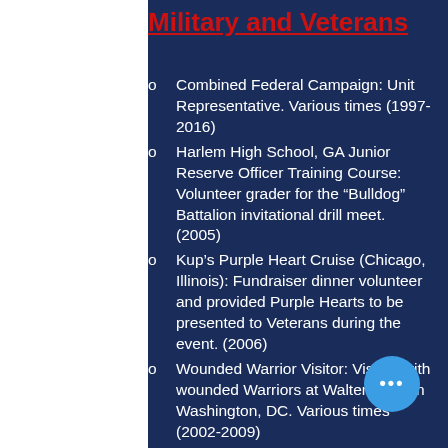Military and Veterans
Combined Federal Campaign: Unit Representative. Various times (1997-2016)
Harlem High School, GA Junior Reserve Officer Training Course: Volunteer grader for the “Bulldog” Battalion invitational drill meet. (2005)
Kup’s Purple Heart Cruise (Chicago, Illinois): Fundraiser dinner volunteer and provided Purple Hearts to be presented to Veterans during the event. (2006)
Wounded Warrior Visitor: Visited with wounded Warriors at Walter Reed in Washington, DC. Various times (2002-2009)
Rolling Thunder: (Washington, D· Wounded Warrior Dinners: Invited to